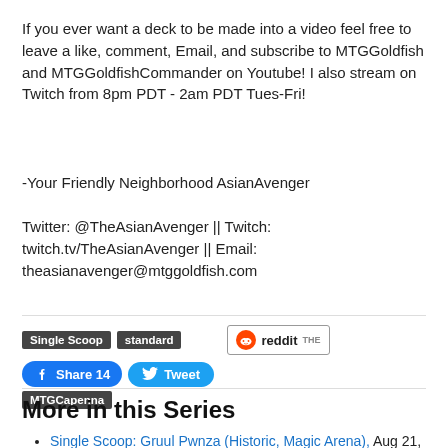If you ever want a deck to be made into a video feel free to leave a like, comment, Email, and subscribe to MTGGoldfish and MTGGoldfishCommander on Youtube! I also stream on Twitch from 8pm PDT - 2am PDT Tues-Fri!
-Your Friendly Neighborhood AsianAvenger
Twitter: @TheAsianAvenger || Twitch: twitch.tv/TheAsianAvenger || Email: theasianavenger@mtggoldfish.com
[Figure (other): Tag buttons (Single Scoop, standard, MTGCapenna), Reddit share button, Facebook Share 14 button, Twitter Tweet button]
More in this Series
Single Scoop: Gruul Pwnza (Historic, Magic Arena), Aug 21, 2022
Single Scoop: Big Red (Explorer, Magic Arena), Aug 18,